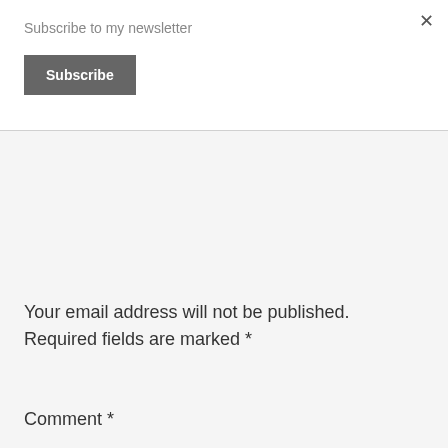Subscribe to my newsletter
Subscribe
×
Your email address will not be published. Required fields are marked *
Comment *